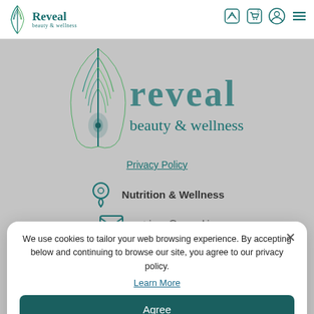Reveal beauty & wellness — navigation bar with logo and icons
[Figure (logo): Reveal beauty & wellness large logo on grey background with peacock feather graphic]
Privacy Policy
Nutrition & Wellness
catriona@reveal.ie
Beauty Studio
We use cookies to tailor your web browsing experience. By accepting below and continuing to browse our site, you agree to our privacy policy. Learn More
Agree